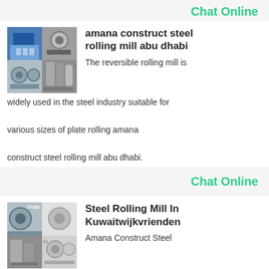Chat Online
[Figure (photo): Industrial steel rolling mill facility collage with blue building and machinery]
amana construct steel rolling mill abu dhabi
The reversible rolling mill is widely used in the steel industry suitable for various sizes of plate rolling amana construct steel rolling mill abu dhabi.
Chat Online
[Figure (photo): Steel rolling mill equipment collage showing large rollers and industrial machinery]
Steel Rolling Mill In Kuwaitwijkvrienden
Amana Construct Steel Rolling Mill Abu Dhabi Amana construct steel rolling mill abu dhabipurpleonionnl.Steel